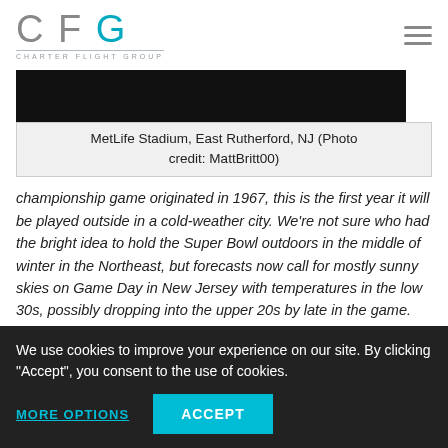CFG CHARTER FLIGHT GROUP
[Figure (photo): Dark/black image of MetLife Stadium at night or dusk]
MetLife Stadium, East Rutherford, NJ (Photo credit: MattBritt00)
championship game originated in 1967, this is the first year it will be played outside in a cold-weather city. We're not sure who had the bright idea to hold the Super Bowl outdoors in the middle of winter in the Northeast, but forecasts now call for mostly sunny skies on Game Day in New Jersey with temperatures in the low 30s, possibly dropping into the upper 20s by late in the game. So you may experience a flurry or two early in the day and quite a wind chill, but fans can probably
We use cookies to improve your experience on our site. By clicking "Accept", you consent to the use of cookies.
MORE OPTIONS   ACCEPT